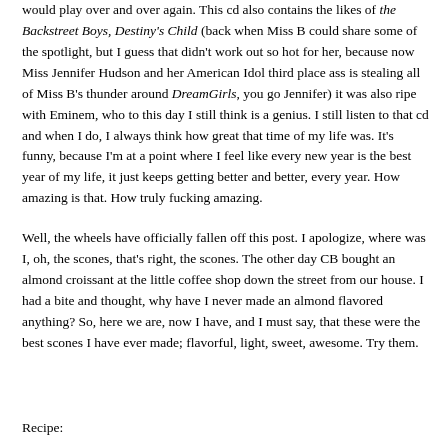would play over and over again. This cd also contains the likes of the Backstreet Boys, Destiny's Child (back when Miss B could share some of the spotlight, but I guess that didn't work out so hot for her, because now Miss Jennifer Hudson and her American Idol third place ass is stealing all of Miss B's thunder around DreamGirls, you go Jennifer) it was also ripe with Eminem, who to this day I still think is a genius. I still listen to that cd and when I do, I always think how great that time of my life was. It's funny, because I'm at a point where I feel like every new year is the best year of my life, it just keeps getting better and better, every year. How amazing is that. How truly fucking amazing.
Well, the wheels have officially fallen off this post. I apologize, where was I, oh, the scones, that's right, the scones. The other day CB bought an almond croissant at the little coffee shop down the street from our house. I had a bite and thought, why have I never made an almond flavored anything? So, here we are, now I have, and I must say, that these were the best scones I have ever made; flavorful, light, sweet, awesome. Try them.
Recipe: